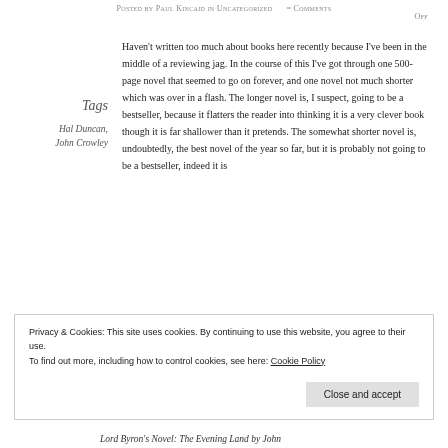Posted by Paul Kincaid in Uncategorized = Comments Off
Tags
Hal Duncan, John Crowley
Haven't written too much about books here recently because I've been in the middle of a reviewing jag. In the course of this I've got through one 500-page novel that seemed to go on forever, and one novel not much shorter which was over in a flash. The longer novel is, I suspect, going to be a bestseller, because it flatters the reader into thinking it is a very clever book though it is far shallower than it pretends. The somewhat shorter novel is, undoubtedly, the best novel of the year so far, but it is probably not going to be a bestseller, indeed it is
Privacy & Cookies: This site uses cookies. By continuing to use this website, you agree to their use.
To find out more, including how to control cookies, see here: Cookie Policy
Close and accept
Lord Byron's Novel: The Evening Land by John